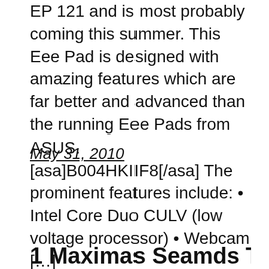EP 121 and is most probably coming this summer. This Eee Pad is designed with amazing features which are far better and advanced than the running Eee Pads from ASUS. [asa]B004HKIIF8[/asa] The prominent features include: • Intel Core Duo CULV (low voltage processor) • Webcam […]
May 31, 2010
1 Maximas Seamds Tablet